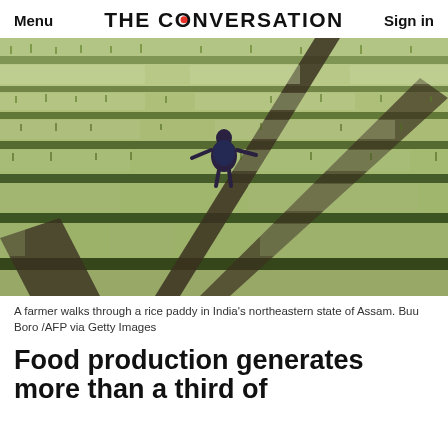Menu  THE CONVERSATION  Sign in
[Figure (photo): A farmer walks along a narrow earthen path through a flooded rice paddy in India's northeastern state of Assam. The field is lush with young green rice seedlings reflected in standing water. Aerial/wide view.]
A farmer walks through a rice paddy in India's northeastern state of Assam. Buu Boro /AFP via Getty Images
Food production generates more than a third of